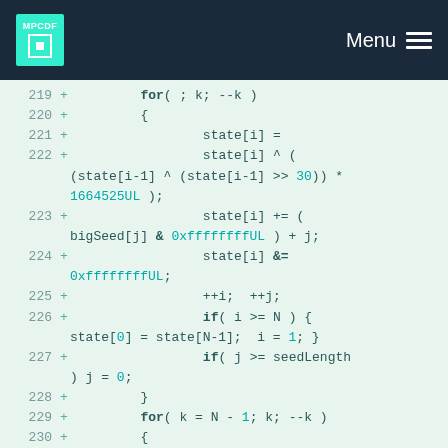MPCDF Menu
Code diff view showing lines 219-232 of a C++ source file implementing Mersenne Twister seeding logic